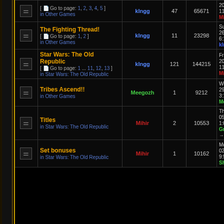| Icon | Topic | Author | Replies | Views | Last Post |
| --- | --- | --- | --- | --- | --- |
| [icon] | [ Go to page: 1, 2, 3, 4, 5 ] in Other Games | klngg | 47 | 65671 | 2012 11:22 am Mihir → |
| [icon] | The Fighting Thread! [ Go to page: 1, 2 ] in Other Games | klngg | 11 | 23298 | Sun Feb 26, 2012 6:18 pm klngg → |
| [icon] | Star Wars: The Old Republic [ Go to page: 1 ... 11, 12, 13 ] in Star Wars: The Old Republic | klngg | 121 | 144215 | Fri Jun 2, 2012 11:37 am Mihir → |
| [icon] | Tribes Ascend!! in Other Games | Meegozh | 1 | 9212 | Wed Feb 29, 2012 3:19 am Meegozh → |
| [icon] | Titles in Star Wars: The Old Republic | Mihir | 2 | 10553 | Thu Jan 05, 2012 1:07 am Groblje → |
| [icon] | Set bonuses in Star Wars: The Old Republic | Mihir | 1 | 10162 | Mon Jan 02, 2012 9:58 pm Shalelo → |